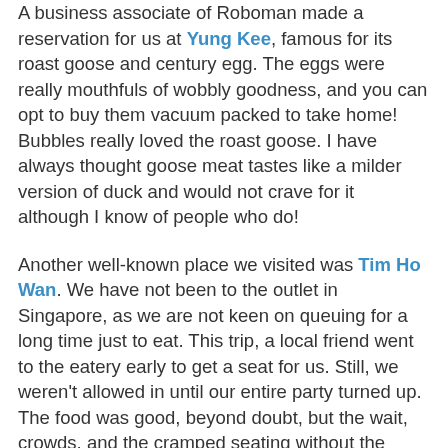A business associate of Roboman made a reservation for us at Yung Kee, famous for its roast goose and century egg. The eggs were really mouthfuls of wobbly goodness, and you can opt to buy them vacuum packed to take home! Bubbles really loved the roast goose. I have always thought goose meat tastes like a milder version of duck and would not crave for it although I know of people who do!
Another well-known place we visited was Tim Ho Wan. We have not been to the outlet in Singapore, as we are not keen on queuing for a long time just to eat. This trip, a local friend went to the eatery early to get a seat for us. Still, we weren't allowed in until our entire party turned up. The food was good, beyond doubt, but the wait, crowds, and the cramped seating without the availability of high-chairs made it a meal that was not so enjoyable. Nonetheless, it was really lovely to catch up with an old girlfriend whom I have not seen in yonks!
I would also like to share about two little eateries we discovered at IFC mall. We somehow ended up hanging out in this mall quite a bit, once when a few of our kids were